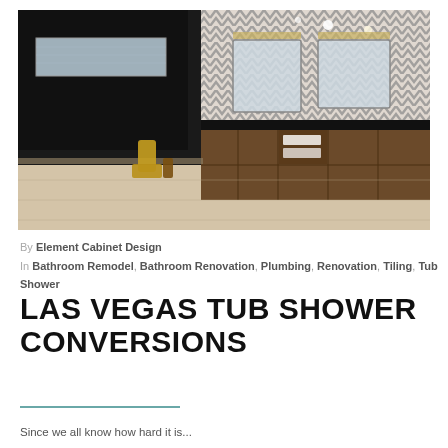[Figure (photo): Interior photo of a modern bathroom with dark walls, chevron patterned tile backsplash, wooden vanity cabinets, black countertop, and light wood-look tile flooring.]
By Element Cabinet Design In Bathroom Remodel, Bathroom Renovation, Plumbing, Renovation, Tiling, Tub Shower
LAS VEGAS TUB SHOWER CONVERSIONS
Since we all know how hard it is...